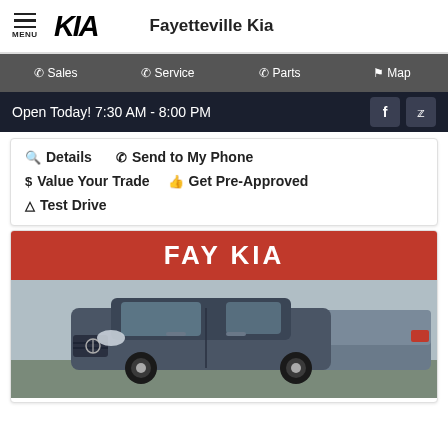MENU  KIA  Fayetteville Kia
Sales  Service  Parts  Map
Open Today! 7:30 AM - 8:00 PM
Details  Send to My Phone
Value Your Trade  Get Pre-Approved
Test Drive
[Figure (photo): FAY KIA banner in red with white bold text above a photo of a dark gray Nissan SUV in a car lot with other vehicles in background]